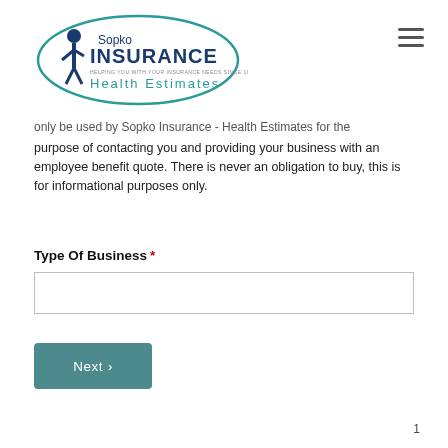[Figure (logo): Sopko Insurance Health Estimates logo with teal swoosh oval, figure of a walking person in a suit, and company name in blue/teal text]
only be used by Sopko Insurance - Health Estimates for the purpose of contacting you and providing your business with an employee benefit quote. There is never an obligation to buy, this is for informational purposes only.
Type Of Business *
1